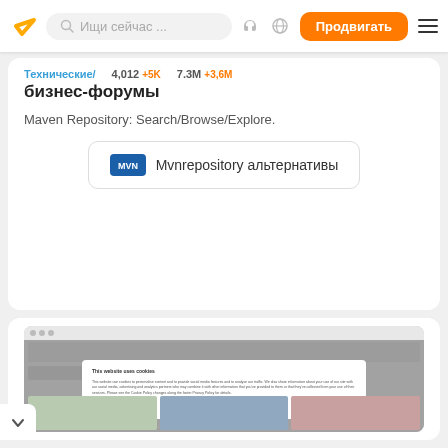Ищи сейчас... | Продвигать
Технические/ бизнес-форумы  4,012 +5K  7.3M +3,6M
бизнес-форумы
Maven Repository: Search/Browse/Explore.
Mvnrepository альтернативы
[Figure (screenshot): Screenshot of a website with a cookie consent modal overlay dialog and thumbnail cards below]